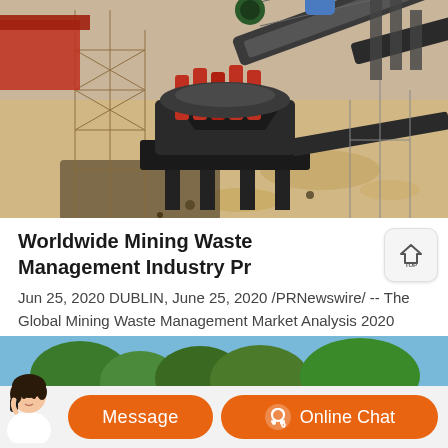[Figure (photo): Aerial/overhead view of mining waste management machinery at a construction/mining site. Shows a cone crusher or similar processing machine in the center-left with red hydraulic components, surrounded by scaffolding, conveyor belts in the upper right, sandy/dusty ground, and industrial equipment. Colors: sandy brown ground, black machinery, red equipment parts, grey conveyor belts.]
Worldwide Mining Waste Management Industry Pr
Jun 25, 2020 DUBLIN, June 25, 2020 /PRNewswire/ -- The Global Mining Waste Management Market Analysis 2020 report has been added to ResearchAndMarkets.coms offering.. The Global Mining Waste Management ...
[Figure (photo): Partial bottom image showing blue sky and green trees/foliage, appears to be another article thumbnail.]
Message
Online Chat